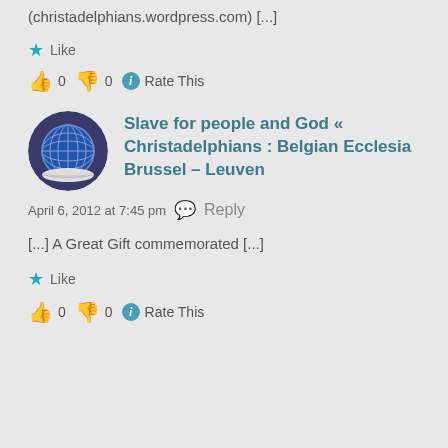(christadelphians.wordpress.com) [...]
★ Like
👍 0 👎 0 ℹ Rate This
Slave for people and God « Christadelphians : Belgian Ecclesia Brussel – Leuven
April 6, 2012 at 7:45 pm  Reply
[...] A Great Gift commemorated [...]
★ Like
👍 0 👎 0 ℹ Rate This